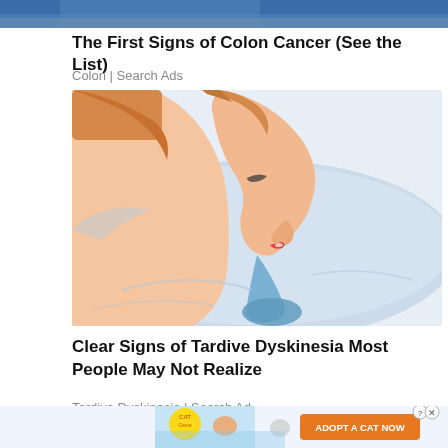[Figure (photo): Top portion of an article card showing a partial image (blue/dark clothing visible at top edge)]
The First Signs of Colon Cancer (See the List)
Colon | Search Ads
[Figure (illustration): Cartoon/illustrated image of a person sleeping on a pillow, side profile showing face with red lips, drooling blue liquid onto pillow, with brown hair]
Clear Signs of Tardive Dyskinesia Most People May Not Realize
Tardive Dyskinesia | Search Ad
[Figure (illustration): Ad banner at bottom showing cartoon cats and text 'ADOPT A CAT NOW' with CAT Game logo, and close/help icons in upper right]